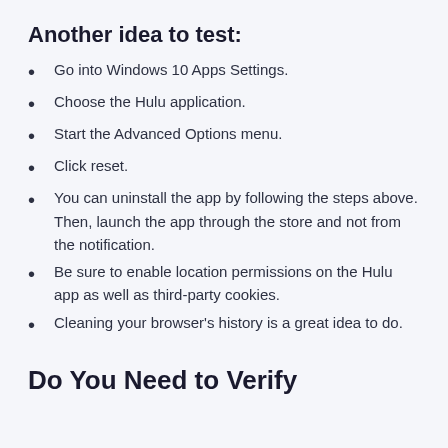Another idea to test:
Go into Windows 10 Apps Settings.
Choose the Hulu application.
Start the Advanced Options menu.
Click reset.
You can uninstall the app by following the steps above. Then, launch the app through the store and not from the notification.
Be sure to enable location permissions on the Hulu app as well as third-party cookies.
Cleaning your browser's history is a great idea to do.
Do You Need to Verify